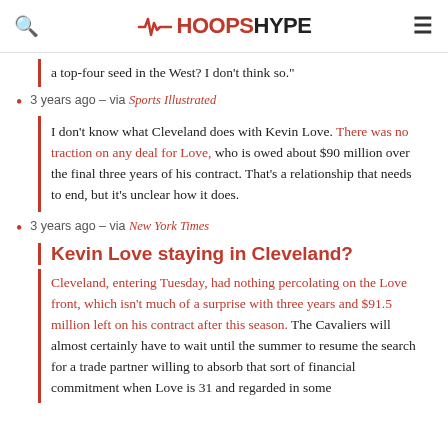HoopsHype
a top-four seed in the West? I don't think so."
3 years ago – via Sports Illustrated
I don't know what Cleveland does with Kevin Love. There was no traction on any deal for Love, who is owed about $90 million over the final three years of his contract. That's a relationship that needs to end, but it's unclear how it does.
3 years ago – via New York Times
Kevin Love staying in Cleveland?
Cleveland, entering Tuesday, had nothing percolating on the Love front, which isn't much of a surprise with three years and $91.5 million left on his contract after this season. The Cavaliers will almost certainly have to wait until the summer to resume the search for a trade partner willing to absorb that sort of financial commitment when Love is 31 and regarded in some